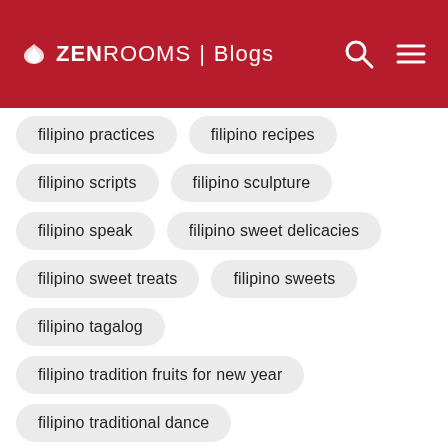ZEN ROOMS | Blogs
filipino practices
filipino recipes
filipino scripts
filipino sculpture
filipino speak
filipino sweet delicacies
filipino sweet treats
filipino sweets
filipino tagalog
filipino tradition fruits for new year
filipino traditional dance
filipino traditional house
filipino traditions for new year
filipino ulam